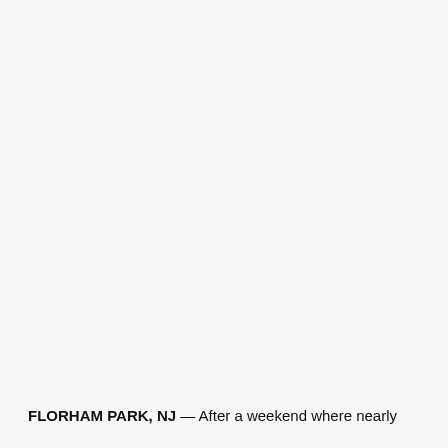FLORHAM PARK, NJ — After a weekend where nearly